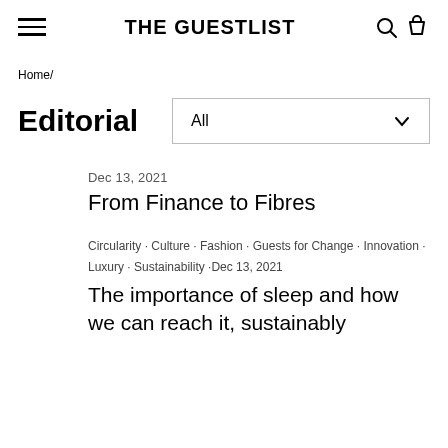THE GUESTLIST
Home/
Editorial
All
Dec 13, 2021
From Finance to Fibres
Circularity · Culture · Fashion · Guests for Change · Innovation · Luxury · Sustainability ·Dec 13, 2021
The importance of sleep and how we can reach it, sustainably